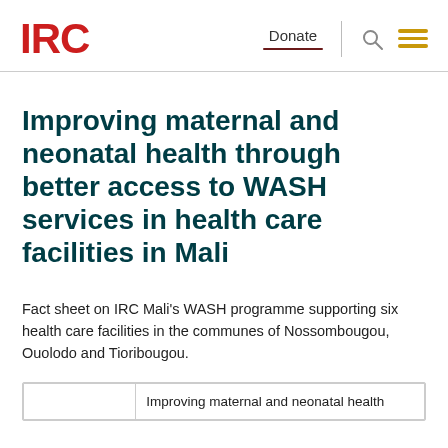IRC | Donate
Improving maternal and neonatal health through better access to WASH services in health care facilities in Mali
Fact sheet on IRC Mali's WASH programme supporting six health care facilities in the communes of Nossombougou, Ouolodo and Tioribougou.
|  | Improving maternal and neonatal health |